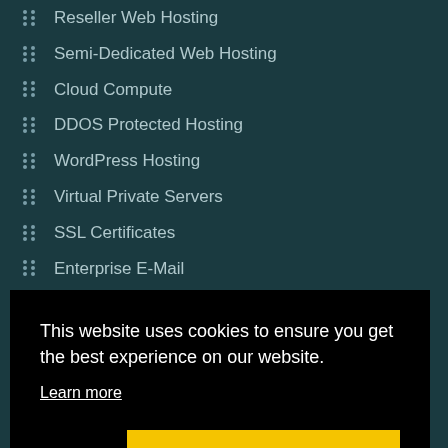Reseller Web Hosting
Semi-Dedicated Web Hosting
Cloud Compute
DDOS Protected Hosting
WordPress Hosting
Virtual Private Servers
SSL Certificates
Enterprise E-Mail
1-Click Installs
This website uses cookies to ensure you get the best experience on our website.
Learn more
Got it!
Allow cookies
Affiliate Program